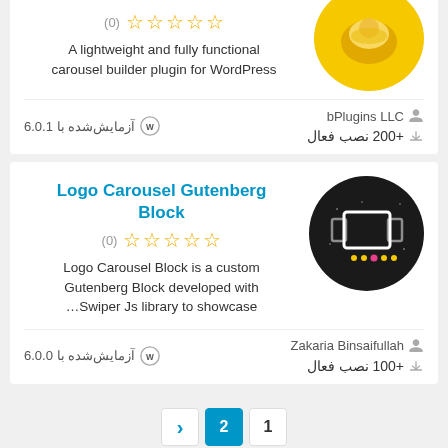A lightweight and fully functional carousel builder plugin for WordPress
bPlugins LLC
+200 نصب فعال
آزمایش‌شده با 6.0.1
Logo Carousel Gutenberg Block
(0) ☆☆☆☆☆
Logo Carousel Block is a custom Gutenberg Block developed with …Swiper Js library to showcase
Zakaria Binsaifullah
+100 نصب فعال
آزمایش‌شده با 6.0.0
2  1